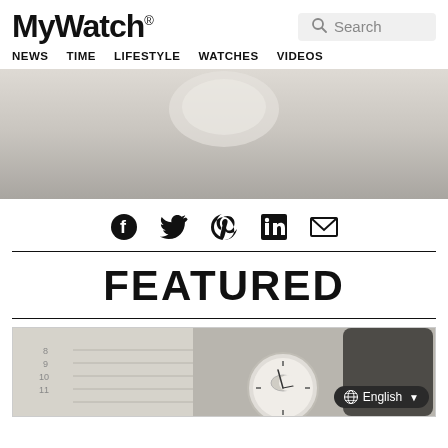MyWatch® — NEWS  TIME  LIFESTYLE  WATCHES  VIDEOS
[Figure (photo): Partial view of a watch or light-colored object against a gray gradient background]
[Figure (infographic): Social sharing icons: Facebook, Twitter, Pinterest, LinkedIn, Email]
FEATURED
[Figure (photo): A wristwatch with leather strap resting on a notebook/planner, black and white photo. Language selector badge showing 'English' in bottom right corner.]